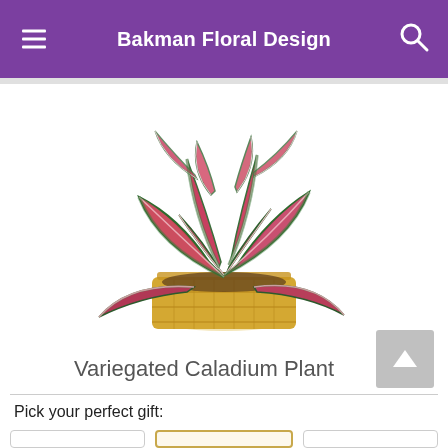Bakman Floral Design
[Figure (photo): A variegated caladium plant with pink and green heart-shaped leaves arranged in a woven tan basket, displayed on a white background.]
Variegated Caladium Plant
Pick your perfect gift: